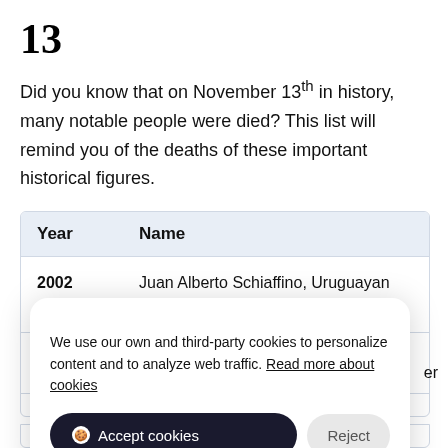13
Did you know that on November 13th in history, many notable people were died? This list will remind you of the deaths of these important historical figures.
| Year | Name |
| --- | --- |
| 2002 | Juan Alberto Schiaffino, Uruguayan footballer and manager (b. 1925) |
| 2002 | Rishikesh Shaha. Nepalese academic and ...er |
| 2004 | Thomas M. Fo... |
We use our own and third-party cookies to personalize content and to analyze web traffic. Read more about cookies